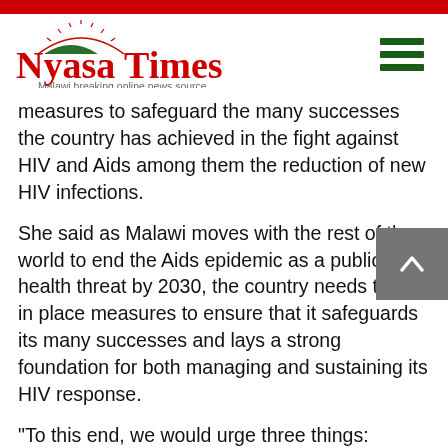[Figure (logo): Nyasa Times logo with semicircle emblem and tagline 'Malawi breaking online news source']
measures to safeguard the many successes the country has achieved in the fight against HIV and Aids among them the reduction of new HIV infections.
She said as Malawi moves with the rest of the world to end the Aids epidemic as a public health threat by 2030, the country needs to put in place measures to ensure that it safeguards its many successes and lays a strong foundation for both managing and sustaining its HIV response.
“To this end, we would urge three things: passing of the long overdue HIV bill; quickly addressing the management and coordination challenges that are now upon us with the developments at Nac and Department of Nutrition HIV and Aids and urgently diversifying funding for the HIV response and committi